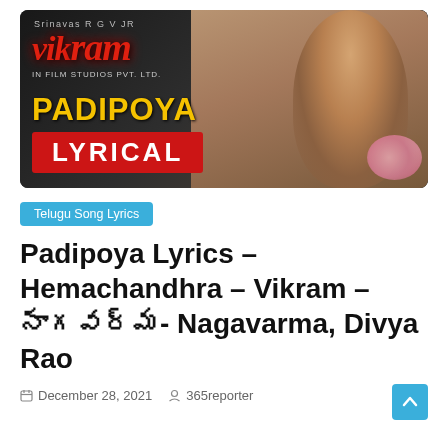[Figure (photo): Movie promotional image for 'Vikram' showing a man smiling with flowers in background. Text overlay shows 'PADIPOYA' in yellow and 'LYRICAL' on a red banner. Movie logo in Telugu script visible top left.]
Telugu Song Lyrics
Padipoya Lyrics – Hemachandhra – Vikram – నాగవర్మ- Nagavarma, Divya Rao
December 28, 2021   365reporter